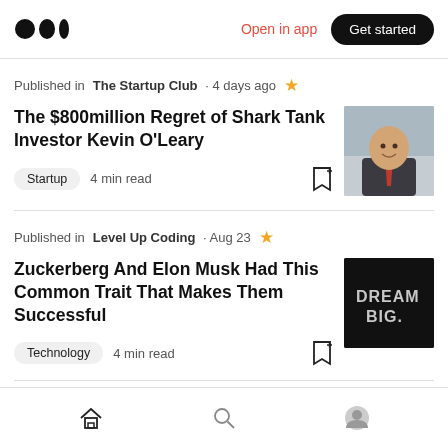Medium logo | Open in app | Get started
Published in The Startup Club · 4 days ago
The $800million Regret of Shark Tank Investor Kevin O'Leary
Startup  4 min read
[Figure (photo): Photo of Kevin O'Leary in a suit with a red tie, smiling]
Published in Level Up Coding · Aug 23
Zuckerberg And Elon Musk Had This Common Trait That Makes Them Successful
Technology  4 min read
[Figure (photo): Dark image with text DREAM BIG.]
Home | Search | Profile